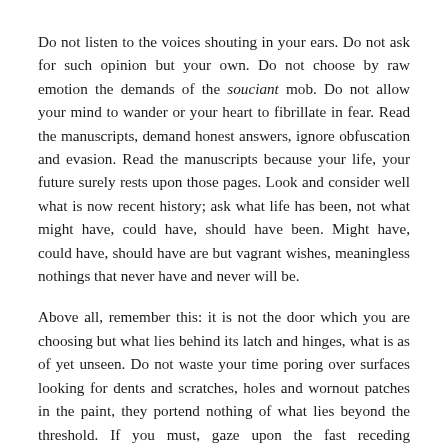Do not listen to the voices shouting in your ears. Do not ask for such opinion but your own. Do not choose by raw emotion the demands of the souciant mob. Do not allow your mind to wander or your heart to fibrillate in fear. Read the manuscripts, demand honest answers, ignore obfuscation and evasion. Read the manuscripts because your life, your future surely rests upon those pages. Look and consider well what is now recent history; ask what life has been, not what might have, could have, should have been. Might have, could have, should have are but vagrant wishes, meaningless nothings that never have and never will be.
Above all, remember this: it is not the door which you are choosing but what lies behind its latch and hinges, what is as of yet unseen. Do not waste your time poring over surfaces looking for dents and scratches, holes and wornout patches in the paint, they portend nothing of what lies beyond the threshold. If you must, gaze upon the fast receding landscape, the paths which brought you here to this moment and the doors of present